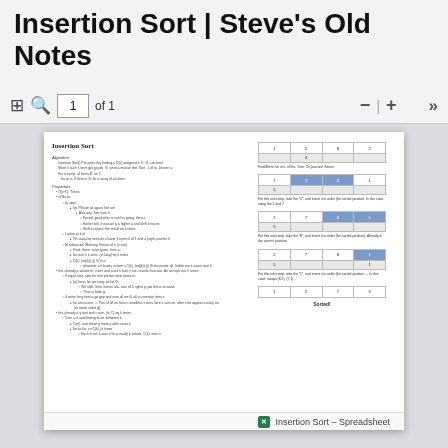Insertion Sort | Steve's Old Notes
[Figure (screenshot): Browser toolbar showing page navigation: panel icon, search icon, page 1 of 1, zoom minus and plus controls, forward chevron]
[Figure (screenshot): Document page showing Insertion Sort notes with algorithm description on left and step-by-step sorting table visualization on right]
Insertion Sort – Spreadsheet